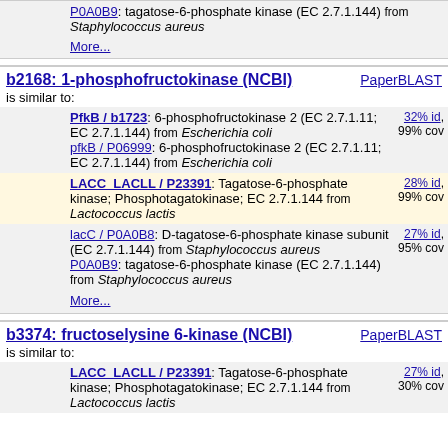P0A0B9: tagatose-6-phosphate kinase (EC 2.7.1.144) from Staphylococcus aureus
More...
b2168: 1-phosphofructokinase (NCBI)
is similar to:
PfkB / b1723: 6-phosphofructokinase 2 (EC 2.7.1.11; EC 2.7.1.144) from Escherichia coli | 32% id, 99% cov
pfkB / P06999: 6-phosphofructokinase 2 (EC 2.7.1.11; EC 2.7.1.144) from Escherichia coli
LACC_LACLL / P23391: Tagatose-6-phosphate kinase; Phosphotagatokinase; EC 2.7.1.144 from Lactococcus lactis | 28% id, 99% cov
lacC / P0A0B8: D-tagatose-6-phosphate kinase subunit (EC 2.7.1.144) from Staphylococcus aureus | 27% id, 95% cov
P0A0B9: tagatose-6-phosphate kinase (EC 2.7.1.144) from Staphylococcus aureus
More...
b3374: fructoselysine 6-kinase (NCBI)
is similar to:
LACC_LACLL / P23391: Tagatose-6-phosphate kinase; Phosphotagatokinase; EC 2.7.1.144 from Lactococcus lactis | 27% id, 30% cov